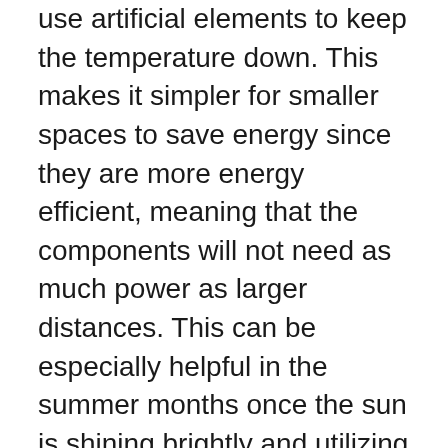use artificial elements to keep the temperature down. This makes it simpler for smaller spaces to save energy since they are more energy efficient, meaning that the components will not need as much power as larger distances. This can be especially helpful in the summer months once the sun is shining brightly and utilizing a great deal of electricity is far more expensive.
Another advantage that comes with many condos and apartments that are designed with these characteristics is they may be contained in certain housing development plans. Since there are so many different housing developments being built, programmers are often interested in putting affordable housing units within these